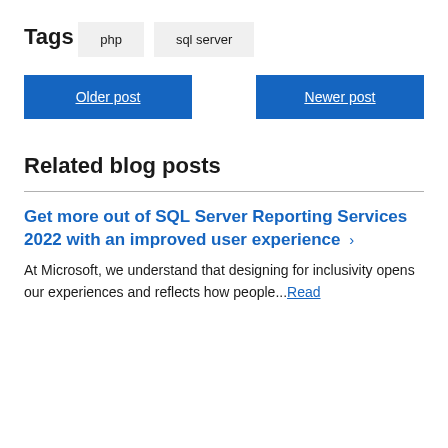Tags
php
sql server
Older post
Newer post
Related blog posts
Get more out of SQL Server Reporting Services 2022 with an improved user experience >
At Microsoft, we understand that designing for inclusivity opens our experiences and reflects how people...Read